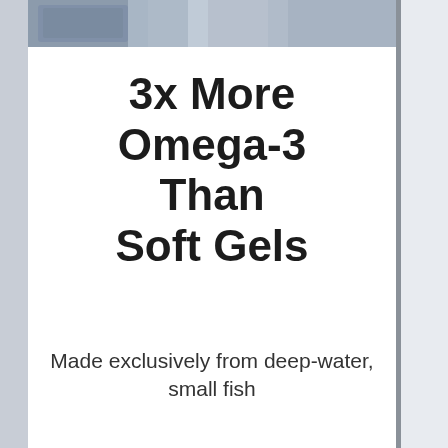[Figure (photo): Partially visible image strip at top of left panel, appears to show clothing or fashion items in blue/gray tones]
To Add Blue Cow Logo To Milk Products  Per... joins Parmalat in milk war against New Zealan...
3x More Omega-3 Than Soft Gels
Made exclusively from deep-water, small fish
[Figure (illustration): Dark circular arrow/chevron button pointing right]